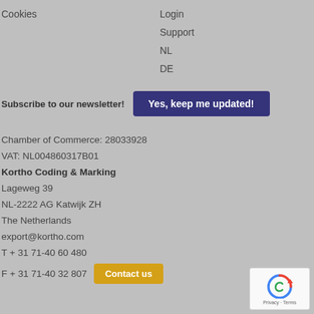Cookies
Login
Support
NL
DE
Subscribe to our newsletter!
Yes, keep me updated!
Chamber of Commerce: 28033928
VAT: NL004860317B01
Kortho Coding & Marking
Lageweg 39
NL-2222 AG Katwijk ZH
The Netherlands
export@kortho.com
T + 31 71-40 60 480
F + 31 71-40 32 807
Contact us
[Figure (logo): reCAPTCHA logo with Privacy and Terms text]